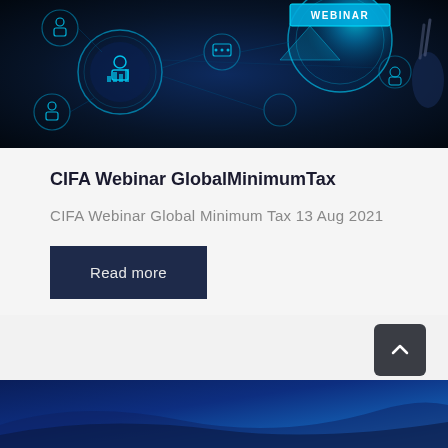[Figure (photo): Dark blue technology webinar banner image with glowing circular icons and a hand pointing at a glowing blue sphere with 'WEBINAR' text label]
CIFA Webinar GlobalMinimumTax
CIFA Webinar Global Minimum Tax 13 Aug 2021
Read more
[Figure (photo): Dark blue gradient footer banner with curved wave design elements]